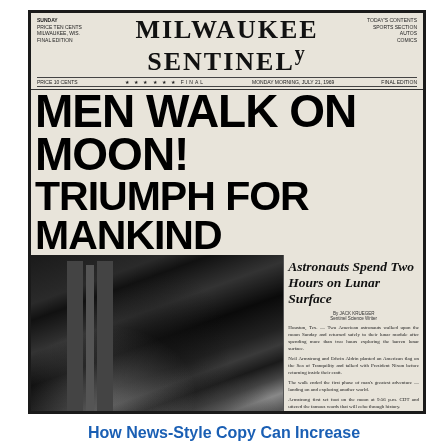[Figure (photo): Scanned front page of the Milwaukee Sentinel newspaper with the headline 'MEN WALK ON MOON! TRIUMPH FOR MANKIND' and a black-and-white photo of astronauts on the lunar surface]
MILWAUKEE SENTINEL
MEN WALK ON MOON!
TRIUMPH FOR MANKIND
Astronauts Spend Two Hours on Lunar Surface
How News-Style Copy Can Increase